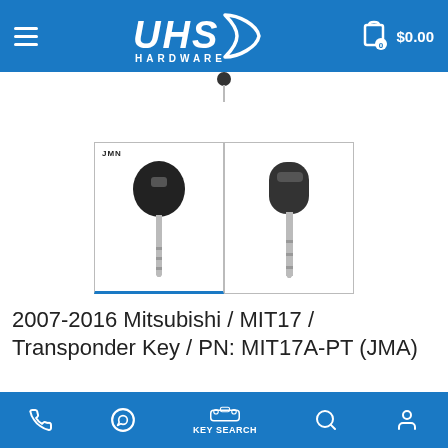UHS HARDWARE — Cart: 0 items, $0.00
[Figure (photo): Two transponder key product thumbnails. Left thumbnail shows a Mitsubishi transponder key with JMN label (active/selected, blue underline). Right thumbnail shows side view of the same key.]
2007-2016 Mitsubishi / MIT17 / Transponder Key / PN: MIT17A-PT (JMA)
$7.80  $10.00
Phone | WhatsApp | KEY SEARCH | Search | Account